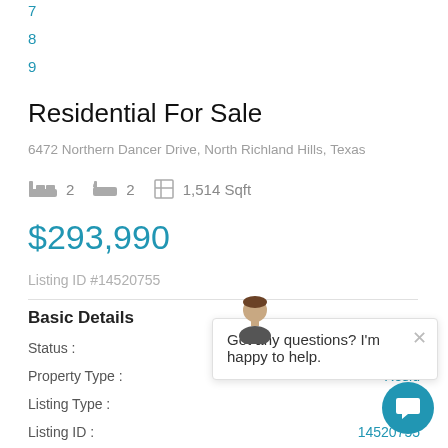7
8
9
Residential For Sale
6472 Northern Dancer Drive, North Richland Hills, Texas
2  2  1,514 Sqft
$293,990
Listing ID #14520755
Basic Details
Status :   Active
Property Type :   Resid...
Listing Type :   Fo...
Listing ID :   14520755
Got any questions? I'm happy to help.